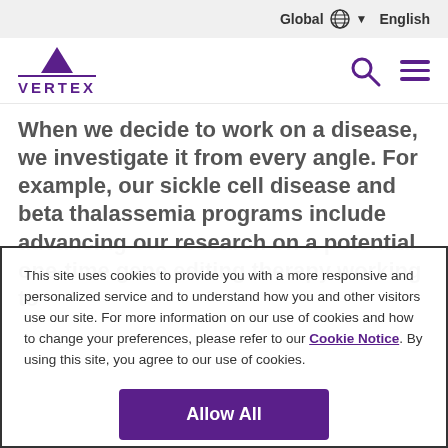Global English
[Figure (logo): Vertex Pharmaceuticals logo with purple triangle above the text VERTEX]
When we decide to work on a disease, we investigate it from every angle. For example, our sickle cell disease and beta thalassemia programs include advancing our research on a potential one-time gene editing therapy working to
This site uses cookies to provide you with a more responsive and personalized service and to understand how you and other visitors use our site. For more information on our use of cookies and how to change your preferences, please refer to our Cookie Notice. By using this site, you agree to our use of cookies.
Allow All